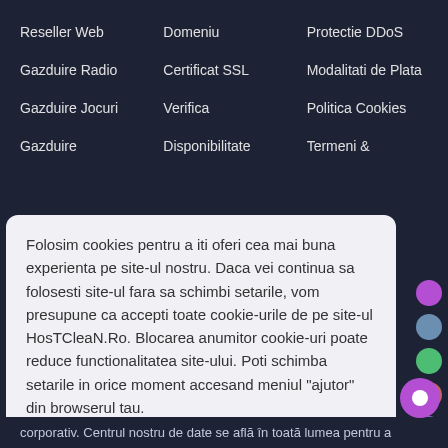Reseller Web
Domeniu
Protectie DDoS
Gazduire Radio
Certificat SSL
Modalitati de Plata
Gazduire Jocuri
Verifica
Politica Cookies
Gazduire
Disponibilitate
Termeni &
Folosim cookies pentru a iti oferi cea mai buna experienta pe site-ul nostru. Daca vei continua sa folosesti site-ul fara sa schimbi setarile, vom presupune ca accepti toate cookie-urile de pe site-ul HosTCleaN.Ro. Blocarea anumitor cookie-uri poate reduce functionalitatea site-ului. Poti schimba setarile in orice moment accesand meniul "ajutor" din browserul tau.
Afla mai multe
Am inteles !
corporativ. Centrul nostru de date se află în toată lumea pentru a